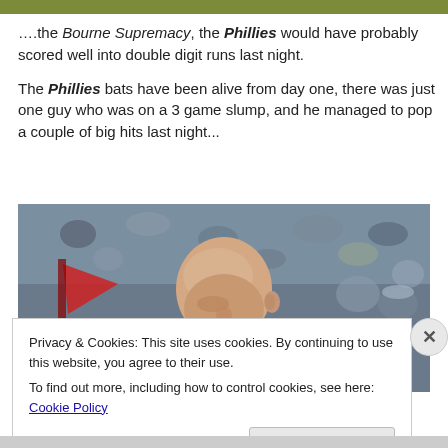….the Bourne Supremacy, the Phillies would have probably scored well into double digit runs last night.

The Phillies bats have been alive from day one, there was just one guy who was on a 3 game slump, and he managed to pop a couple of big hits last night...
[Figure (photo): A bald baseball player (from the Phillies) looking forward, with stadium crowd in background.]
Privacy & Cookies: This site uses cookies. By continuing to use this website, you agree to their use.
To find out more, including how to control cookies, see here: Cookie Policy
Close and accept